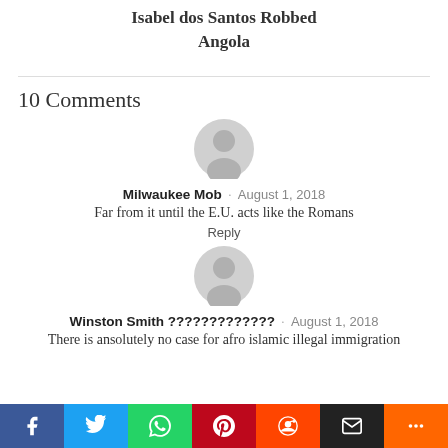Isabel dos Santos Robbed Angola
10 Comments
[Figure (illustration): Generic user avatar silhouette in grey circle]
Milwaukee Mob · August 1, 2018
Far from it until the E.U. acts like the Romans
Reply
[Figure (illustration): Generic user avatar silhouette in grey circle]
Winston Smith ???????????? · August 1, 2018
There is ansolutely no case for afro islamic illegal immigration